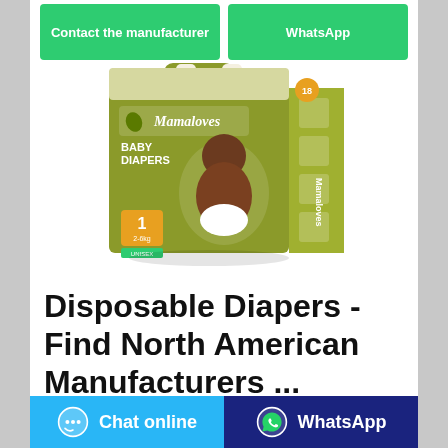[Figure (screenshot): Top portion of a product listing page showing two green buttons labeled 'Contact the manufacturer' and 'WhatsApp' at the top, a product photo of a Mamaloves Baby Diapers box (olive green packaging, size 1, 2-6kg, unisex), and a product title 'Disposable Diapers - Find North American Manufacturers ...' with two action buttons at the bottom: a light blue 'Chat online' button and a dark blue 'WhatsApp' button.]
Disposable Diapers - Find North American Manufacturers ...
Contact the manufacturer
WhatsApp
Chat online
WhatsApp